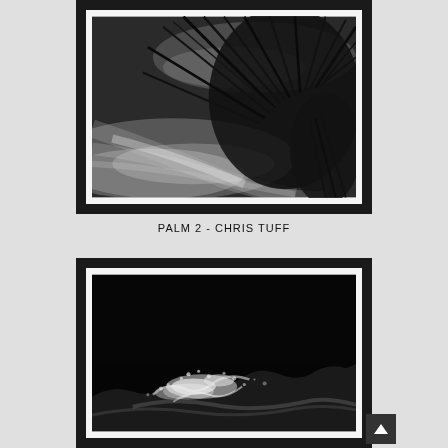[Figure (photo): Black and white abstract photograph of palm fronds or spiky plant leaves with motion blur effect, creating dramatic streaking lines against a blurred background. High contrast image with dark spiky shapes radiating outward. Displayed in a black frame with white mat.]
PALM 2 - CHRIS TUFF
[Figure (photo): Black and white photograph of ocean waves crashing and splashing, with sea foam visible against a nearly black dark background. Bottom portion of a framed photograph showing dramatic wave action. Displayed in a black frame with white mat.]